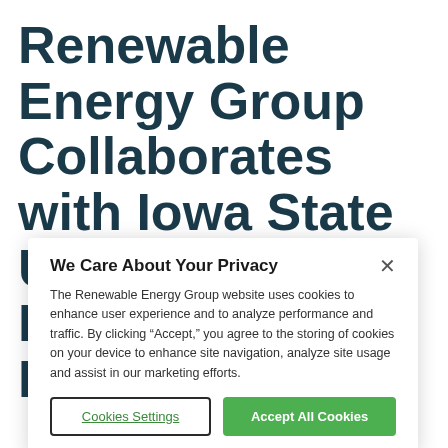Renewable Energy Group Collaborates with Iowa State University on Hydrotreater Pilot
We Care About Your Privacy
The Renewable Energy Group website uses cookies to enhance user experience and to analyze performance and traffic. By clicking “Accept,” you agree to the storing of cookies on your device to enhance site navigation, analyze site usage and assist in our marketing efforts.
Cookies Settings
Accept All Cookies